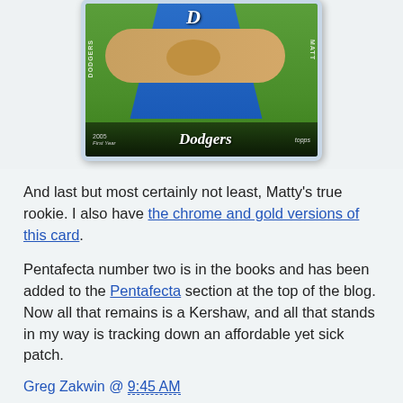[Figure (photo): A Dodgers baseball card (2005 Topps First Year) showing a player in a blue Dodgers jersey, with the Dodgers logo at the bottom of the card.]
And last but most certainly not least, Matty's true rookie. I also have the chrome and gold versions of this card.
Pentafecta number two is in the books and has been added to the Pentafecta section at the top of the blog. Now all that remains is a Kershaw, and all that stands in my way is tracking down an affordable yet sick patch.
Greg Zakwin @ 9:45 AM
5 comments: